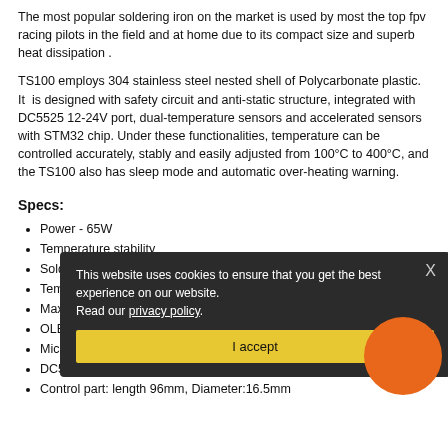The most popular soldering iron on the market is used by most the top fpv racing pilots in the field and at home due to its compact size and superb heat dissipation .
TS100 employs 304 stainless steel nested shell of Polycarbonate plastic. It is designed with safety circuit and anti-static structure, integrated with DC5525 12-24V port, dual-temperature sensors and accelerated sensors with STM32 chip. Under these functionalities, temperature can be controlled accurately, stably and easily adjusted from 100°C to 400°C, and the TS100 also has sleep mode and automatic over-heating warning.
Specs:
Power - 65W
Temperature stability
Soldering tip resistance to GND
Temperature Range - 100°C to 400°C
Max operation ambient temperature - 40°C
OLED screen
Micro USB port
DC5525 port
Control part: length 96mm, Diameter:16.5mm